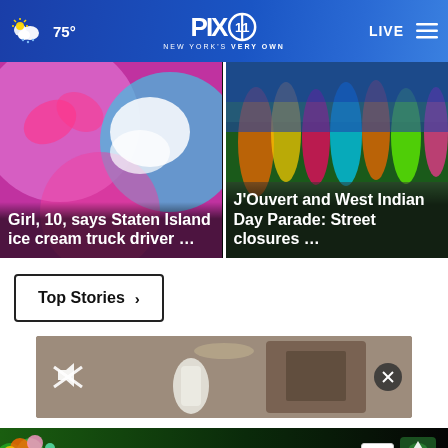PIX11 New York's Very Own — 75° — LIVE
[Figure (screenshot): News card: Girl, 10, says Staten Island ice cream truck driver ...]
[Figure (screenshot): News card: J'Ouvert and West Indian Day Parade: Street closures ...]
Top Stories ›
[Figure (screenshot): Video player thumbnail with mute icon and close button]
[Figure (screenshot): Ad banner: DISCOVERtheFOREST.org — ad council, USDA Forest Service logo]